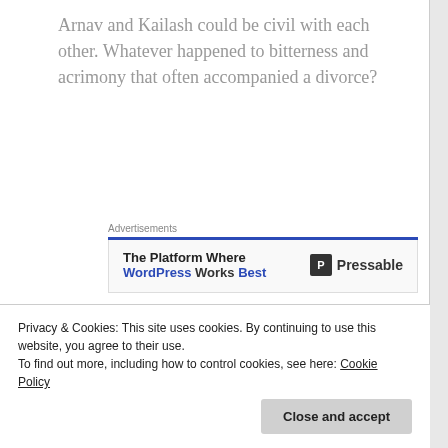Arnav and Kailash could be civil with each other. Whatever happened to bitterness and acrimony that often accompanied a divorce?
[Figure (other): Advertisement banner: 'The Platform Where WordPress Works Best' with Pressable logo]
It was Nani's turn to read a story to Mohan, a
Privacy & Cookies: This site uses cookies. By continuing to use this website, you agree to their use. To find out more, including how to control cookies, see here: Cookie Policy